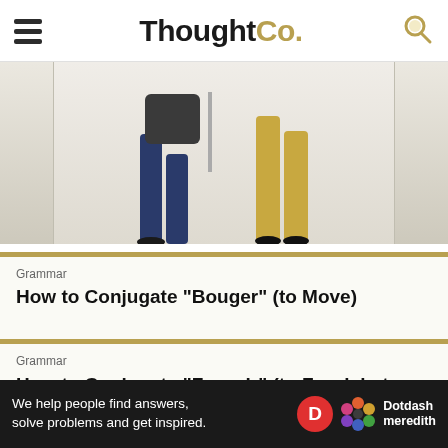ThoughtCo.
[Figure (photo): Two people dancing or moving, lower body visible, one in jeans and one in gold pants, on a light sandy/white floor background]
Grammar
How to Conjugate "Bouger" (to Move)
Grammar
How to Conjugate "Fournir" (to Furnish, to Provide) in French
[Figure (photo): Partial photo of a person, cropped at bottom of page]
We help people find answers, solve problems and get inspired.
[Figure (logo): Dotdash Meredith logo with D circle and flower icon]